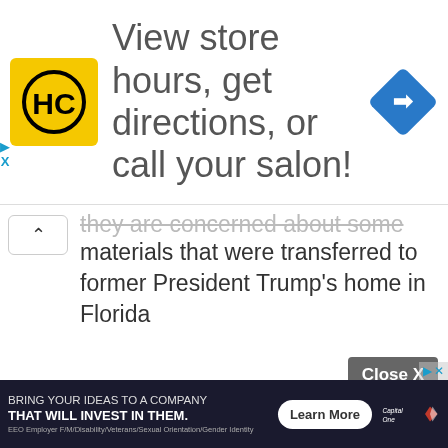[Figure (screenshot): Advertisement banner: HC logo (yellow square with HC in black), text 'View store hours, get directions, or call your salon!' with blue diamond directions icon]
they are concerned about some classified materials that were transferred to former President Trump's home in Florida
[Figure (screenshot): Close X button (gray background, white text 'Close X')]
[Figure (screenshot): Capital One advertisement at bottom: 'BRING YOUR IDEAS TO A COMPANY THAT WILL INVEST IN THEM.' with 'Learn More' button and Capital One logo]